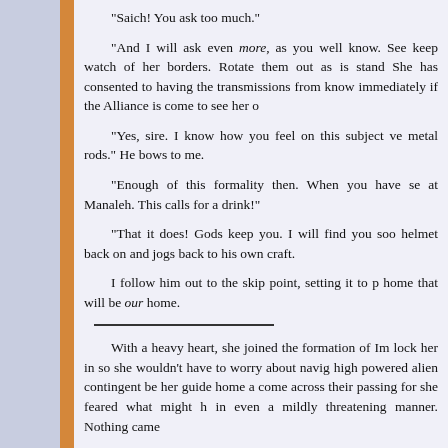“Saich! You ask too much.”
“And I will ask even more, as you well know. See keep watch of her borders. Rotate them out as is stand She has consented to having the transmissions from know immediately if the Alliance is come to see her o
“Yes, sire. I know how you feel on this subject ve metal rods.” He bows to me.
“Enough of this formality then. When you have se at Manaleh. This calls for a drink!”
“That it does! Gods keep you. I will find you soo helmet back on and jogs back to his own craft.
I follow him out to the skip point, setting it to p home that will be our home.
With a heavy heart, she joined the formation of Im lock her in so she wouldn’t have to worry about navig high powered alien contingent be her guide home a come across their passing for she feared what might h in even a mildly threatening manner. Nothing came